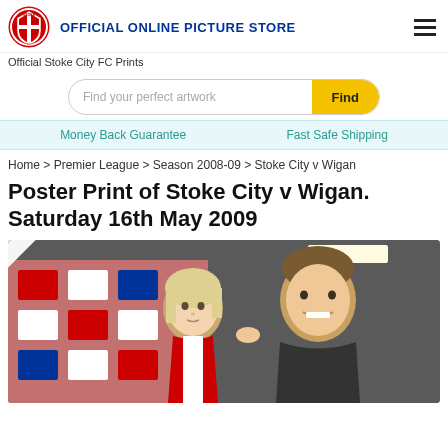OFFICIAL ONLINE PICTURE STORE
Official Stoke City FC Prints
Find your perfect artwork
Money Back Guarantee   Fast Safe Shipping
Home > Premier League > Season 2008-09 > Stoke City v Wigan
Poster Print of Stoke City v Wigan. Saturday 16th May 2009
[Figure (photo): Football player smiling with a young blonde child in a press room setting with red and white Stoke City branded backdrop in background]